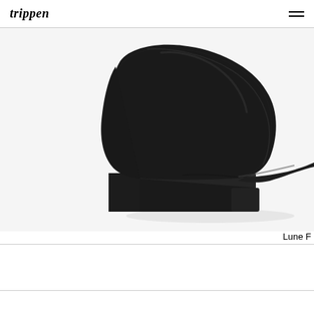trippen
[Figure (photo): Close-up product photo of a black leather wedge ankle boot (Trippen brand) against a white background, showing the pointed toe and chunky black rubber sole from a side angle.]
Lune F
We use cookies on our website to give you the best service possible. By using our services, you agree to our use of cookies.